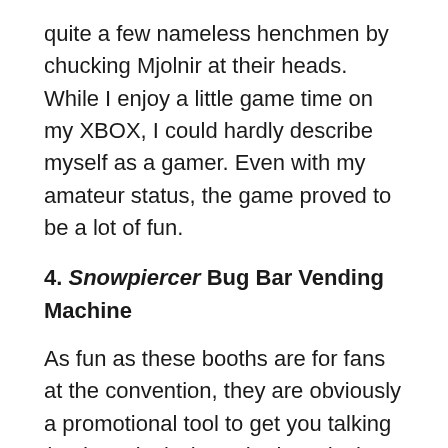quite a few nameless henchmen by chucking Mjolnir at their heads. While I enjoy a little game time on my XBOX, I could hardly describe myself as a gamer. Even with my amateur status, the game proved to be a lot of fun.
4. Snowpiercer Bug Bar Vending Machine
As fun as these booths are for fans at the convention, they are obviously a promotional tool to get you talking (and posting) about the brand, show, game, etc. The new TNT drama Snowpiercer definitely thought of a unique way to accomplish that. A new adaptation of the story Americans first saw in the 2013 Chris Evans lead film of the same name, Snowpiercer is a large train carrying what's left of humanity after Earth has become a snow filled waste land. While the wealthy live the good life in their interior, on the premise inside conditions are th...